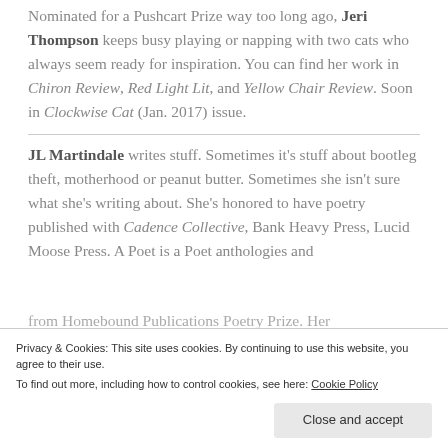Nominated for a Pushcart Prize way too long ago, Jeri Thompson keeps busy playing or napping with two cats who always seem ready for inspiration. You can find her work in Chiron Review, Red Light Lit, and Yellow Chair Review. Soon in Clockwise Cat (Jan. 2017) issue.
JL Martindale writes stuff. Sometimes it's stuff about bootleg theft, motherhood or peanut butter. Sometimes she isn't sure what she's writing about. She's honored to have poetry published with Cadence Collective, Bank Heavy Press, Lucid Moose Press. A Poet is a Poet anthologies and
Privacy & Cookies: This site uses cookies. By continuing to use this website, you agree to their use. To find out more, including how to control cookies, see here: Cookie Policy
Close and accept
from Homebound Publications Poetry Prize. Her